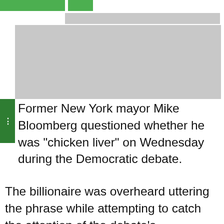[Figure (photo): Placeholder image area at the top of the article, shown as gray blocks]
Former New York mayor Mike Bloomberg questioned whether he was “chicken liver” on Wednesday during the Democratic debate.
The billionaire was overheard uttering the phrase while attempting to catch the attention of the debate’s moderators.
Am I chicken liver? #DemocraticDebate pic.twitter.com/ARimJZVWFC